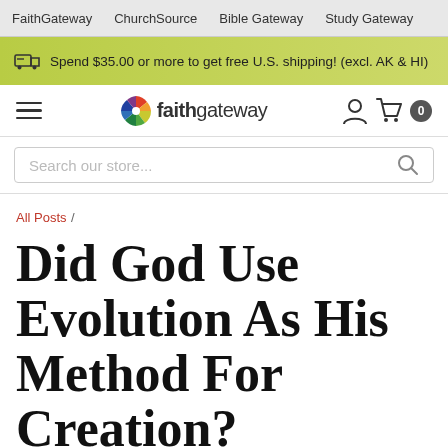FaithGateway  ChurchSource  Bible Gateway  Study Gateway
Spend $35.00 or more to get free U.S. shipping! (excl. AK & HI)
[Figure (logo): FaithGateway pinwheel logo with colorful segments and the text 'faithgateway']
Search our store...
All Posts /
Did God Use Evolution As His Method For Creation?